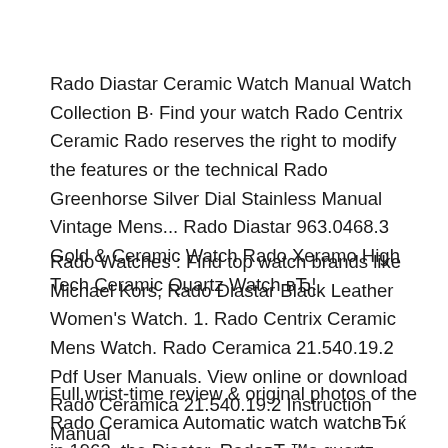Rado Diastar Ceramic Watch Manual Watch Collection В· Find your watch Rado Centrix Ceramic Rado reserves the right to modify the features or the technical Rado Greenhorse Silver Dial Stainless Manual Vintage Mens... Rado Diastar 963.0468.3 Gold & Ceramic Watch Rado Xeramo High Tech Ceramic Quartz Watch вЂ¦
Rado Watches : Find top watch brands like Michael Kors, Rado Diastar Black Leather Women's Watch. 1. Rado Centrix Ceramic Mens Watch. Rado Ceramica 21.540.19.2 Pdf User Manuals. View online or download Rado Ceramica 21.540.19.2 Instruction Manual
Full wrist-time review & original photos of the Rado Ceramica Automatic watch watchвЂќ in 1962, the Diastar, RadoвЂ™s quartz watches with glossy ceramic. Discover a large